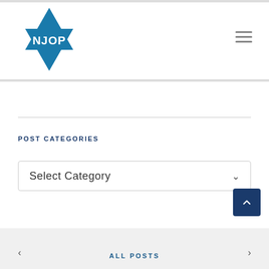[Figure (logo): NJOP logo: blue Star of David with 'NJOP' text in white]
POST CATEGORIES
Select Category
< ALL POSTS >